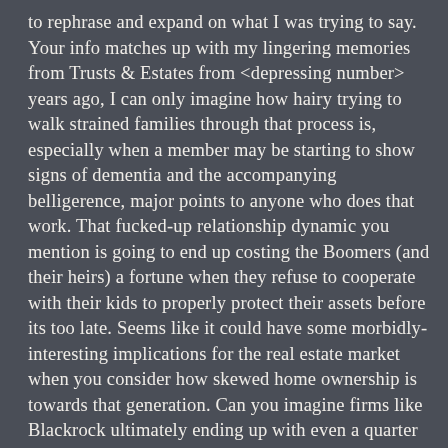to rephrase and expand on what I was trying to say. Your info matches up with my lingering memories from Trusts & Estates from <depressing number> years ago, I can only imagine how hairy trying to walk strained families through that process is, especially when a member may be starting to show signs of dementia and the accompanying belligerence, major points to anyone who does that work. That fucked-up relationship dynamic you mention is going to end up costing the Boomers (and their heirs) a fortune when they refuse to cooperate with their kids to properly protect their assets before its too late. Seems like it could have some morbidly-interesting implications for the real estate market when you consider how skewed home ownership is towards that generation. Can you imagine firms like Blackrock ultimately ending up with even a quarter of that generation's property as they start shuffling off the mortal coil in earnest?